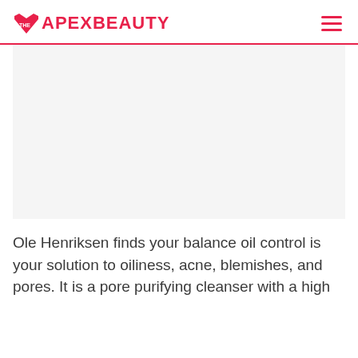THE APEXBEAUTY
[Figure (photo): Large image placeholder area, light gray background, representing a product or article image]
Ole Henriksen finds your balance oil control is your solution to oiliness, acne, blemishes, and pores. It is a pore purifying cleanser with a high